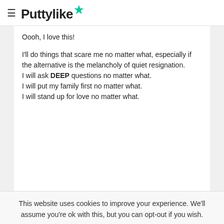≡ Puttylike★
Oooh, I love this!

I'll do things that scare me no matter what, especially if the alternative is the melancholy of quiet resignation.
I will ask DEEP questions no matter what.
I will put my family first no matter what.
I will stand up for love no matter what.
This website uses cookies to improve your experience. We'll assume you're ok with this, but you can opt-out if you wish.
Cookie settings   ACCEPT